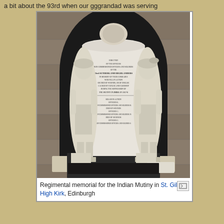a bit about the 93rd when our gggrandad was serving
[Figure (photo): Regimental memorial for the Indian Mutiny, a white marble monument with two kilted Highland soldier figures flanking a central inscribed tablet, set within a stone arch niche. Located in St. Giles High Kirk, Edinburgh.]
Regimental memorial for the Indian Mutiny in St. Giles High Kirk, Edinburgh